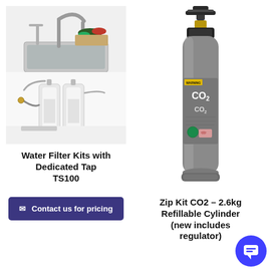[Figure (photo): Water filter kit installed under a kitchen sink with two white filter canisters and connecting hoses, with a modern kitchen faucet and vegetables visible above on the counter]
Water Filter Kits with Dedicated Tap TS100
[Figure (photo): Gray CO2 refillable cylinder/tank with CO2 label and valve assembly on top]
Contact us for pricing
Zip Kit CO2 – 2.6kg Refillable Cylinder (new includes regulator)